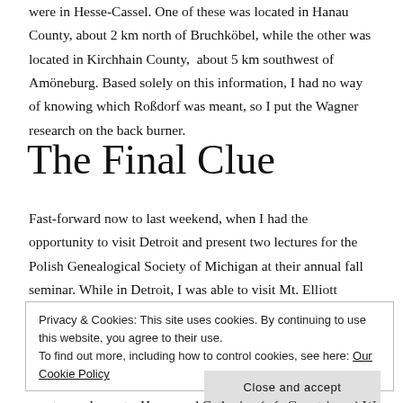were in Hesse-Cassel. One of these was located in Hanau County, about 2 km north of Bruchköbel, while the other was located in Kirchhain County, about 5 km southwest of Amöneburg. Based solely on this information, I had no way of knowing which Roßdorf was meant, so I put the Wagner research on the back burner.
The Final Clue
Fast-forward now to last weekend, when I had the opportunity to visit Detroit and present two lectures for the Polish Genealogical Society of Michigan at their annual fall seminar. While in Detroit, I was able to visit Mt. Elliott Cemetery in person. This cemetery is the final resting place of
Privacy & Cookies: This site uses cookies. By continuing to use this website, you agree to their use.
To find out more, including how to control cookies, see here: Our Cookie Policy
great-grandparents, Henry and Catherine (née Guentringer) Wagner